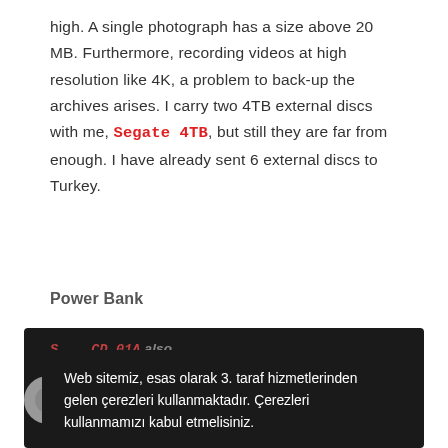high. A single photograph has a size above 20 MB. Furthermore, recording videos at high resolution like 4K, a problem to back-up the archives arises. I carry two 4TB external discs with me, Segate 4TB, but still they are far from enough. I have already sent 6 external discs to Turkey.
Power Bank
[Figure (screenshot): Dark overlay popup/modal with cookie consent text in Turkish and a red 'KABUL EDIYORUM' (I Accept) button. Background shows partially visible dark section with faded text about a power bank.]